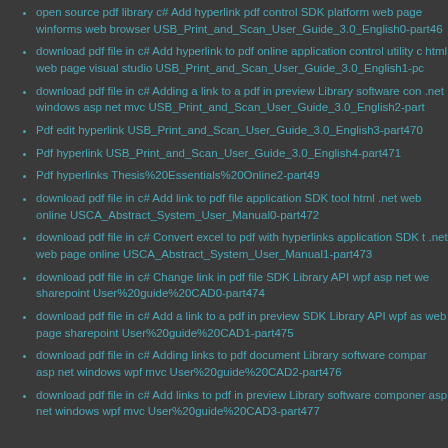open source pdf library c#  Add hyperlink pdf control SDK platform web page winforms web browser USB_Print_and_Scan_User_Guide_3.0_English0-part46
download pdf file in c#  Add hyperlink to pdf online application control utility c html web page visual studio USB_Print_and_Scan_User_Guide_3.0_English1-pc
download pdf file in c#  Adding a link to a pdf in preview Library software con .net windows asp net mvc USB_Print_and_Scan_User_Guide_3.0_English2-part
Pdf edit hyperlink USB_Print_and_Scan_User_Guide_3.0_English3-part470
Pdf hyperlink USB_Print_and_Scan_User_Guide_3.0_English4-part471
Pdf hyperlinks Thesis%20Essentials%20Online2-part49
download pdf file in c#  Add link to pdf file application SDK tool html .net web online USCA_Abstract_System_User_Manual0-part472
download pdf file in c#  Convert excel to pdf with hyperlinks application SDK t .net web page online USCA_Abstract_System_User_Manual1-part473
download pdf file in c#  Change link in pdf file SDK Library API wpf asp net we sharepoint User%20guide%20CAD0-part474
download pdf file in c#  Add a link to a pdf in preview SDK Library API wpf as web page sharepoint User%20guide%20CAD1-part475
download pdf file in c#  Adding links to pdf document Library software compar asp net windows wpf mvc User%20guide%20CAD2-part476
download pdf file in c#  Add links to pdf in preview Library software componer asp net windows wpf mvc User%20guide%20CAD3-part477